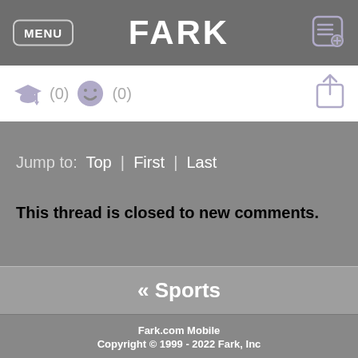MENU | FARK
[Figure (screenshot): Icon bar with graduation cap icon (0) and smiley face icon (0) and share icon on the right]
Jump to: Top | First | Last
This thread is closed to new comments.
« Sports
Fark.com Mobile
Copyright © 1999 - 2022 Fark, Inc